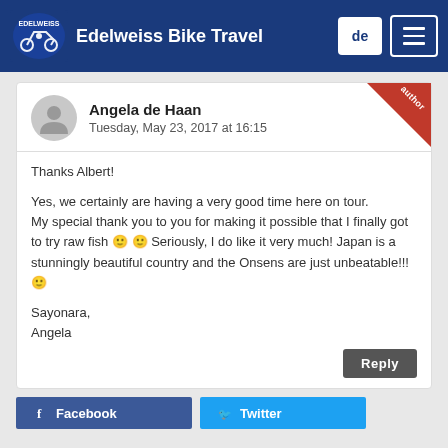Edelweiss Bike Travel
Angela de Haan
Tuesday, May 23, 2017 at 16:15
Thanks Albert!

Yes, we certainly are having a very good time here on tour.
My special thank you to you for making it possible that I finally got to try raw fish 🙂 🙂 Seriously, I do like it very much! Japan is a stunningly beautiful country and the Onsens are just unbeatable!!! 🙂

Sayonara,
Angela